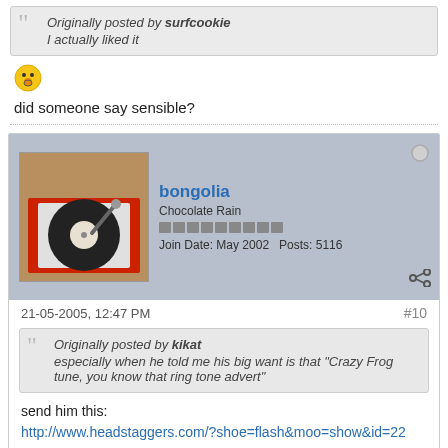Originally posted by surfcookie
I actually liked it
[Figure (illustration): Yellow emoji face with surprised/shocked expression]
did someone say sensible?
bongolia
Chocolate Rain
Join Date: May 2002    Posts: 5116
21-05-2005, 12:47 PM
#10
Originally posted by kikat
especially when he told me his big want is that "Crazy Frog tune, you know that ring tone advert"
send him this:
http://www.headstaggers.com/?shoe=flash&moo=show&id=22